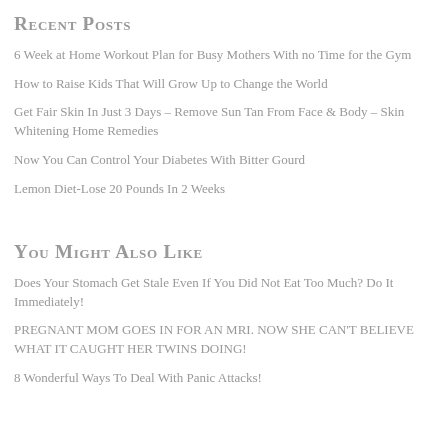Recent Posts
6 Week at Home Workout Plan for Busy Mothers With no Time for the Gym
How to Raise Kids That Will Grow Up to Change the World
Get Fair Skin In Just 3 Days – Remove Sun Tan From Face & Body – Skin Whitening Home Remedies
Now You Can Control Your Diabetes With Bitter Gourd
Lemon Diet-Lose 20 Pounds In 2 Weeks
You Might Also Like
Does Your Stomach Get Stale Even If You Did Not Eat Too Much? Do It Immediately!
PREGNANT MOM GOES IN FOR AN MRI. NOW SHE CAN'T BELIEVE WHAT IT CAUGHT HER TWINS DOING!
8 Wonderful Ways To Deal With Panic Attacks!